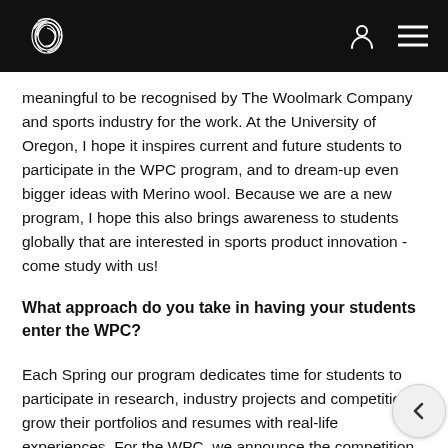Woolmark Company navigation header
meaningful to be recognised by The Woolmark Company and sports industry for the work. At the University of Oregon, I hope it inspires current and future students to participate in the WPC program, and to dream-up even bigger ideas with Merino wool. Because we are a new program, I hope this also brings awareness to students globally that are interested in sports product innovation - come study with us!
What approach do you take in having your students enter the WPC?
Each Spring our program dedicates time for students to participate in research, industry projects and competitions grow their portfolios and resumes with real-life experiences. For the WPC, we announce the competition in the fall and then we